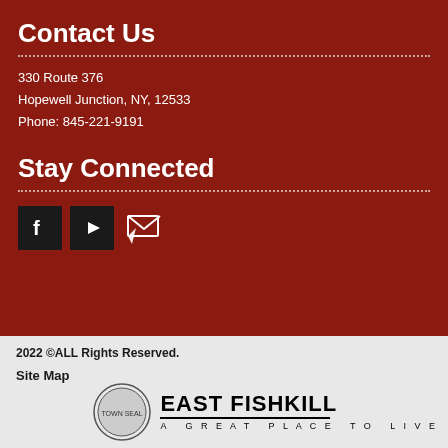Contact Us
330 Route 376
Hopewell Junction, NY, 12533
Phone: 845-221-9191
Stay Connected
[Figure (other): Social media icons: Facebook, YouTube, and Email/Newsletter icons]
2022 ©ALL Rights Reserved.
Site Map
[Figure (logo): East Fishkill town seal and logo with text 'EAST FISHKILL - A GREAT PLACE TO LIVE']